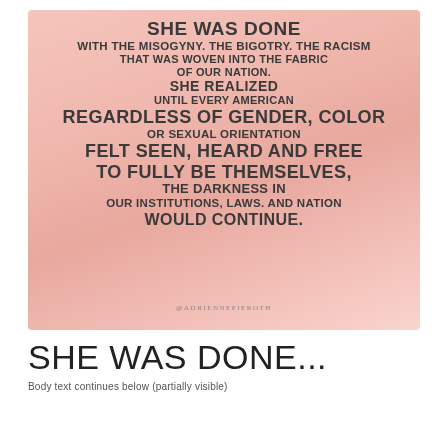[Figure (illustration): Pink watercolor background card with bold uppercase text reading: SHE WAS DONE WITH THE MISOGYNY. THE BIGOTRY. THE RACISM THAT WAS WOVEN INTO THE FABRIC OF OUR NATION. SHE REALIZED UNTIL EVERY AMERICAN REGARDLESS OF GENDER, COLOR OR SEXUAL ORIENTATION FELT SEEN, HEARD AND FREE TO FULLY BE THEMSELVES, THE DARKNESS IN OUR INSTITUTIONS, LAWS. AND NATION WOULD CONTINUE. Attribution: @ADRIENNEPIEROTH]
SHE WAS DONE...
Body text below title (partially visible)